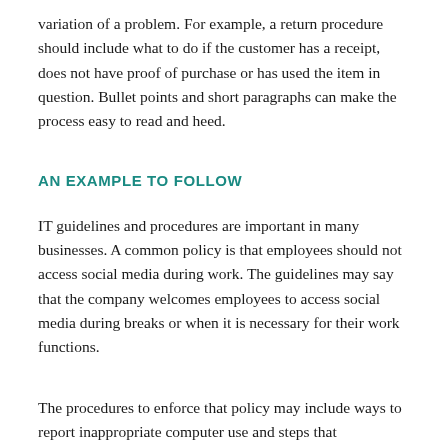variation of a problem. For example, a return procedure should include what to do if the customer has a receipt, does not have proof of purchase or has used the item in question. Bullet points and short paragraphs can make the process easy to read and heed.
AN EXAMPLE TO FOLLOW
IT guidelines and procedures are important in many businesses. A common policy is that employees should not access social media during work. The guidelines may say that the company welcomes employees to access social media during breaks or when it is necessary for their work functions.
The procedures to enforce that policy may include ways to report inappropriate computer use and steps that